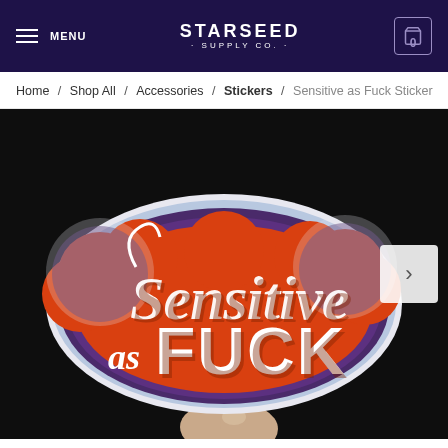MENU | STARSEED SUPPLY CO. | 0
Home / Shop All / Accessories / Stickers / Sensitive as Fuck Sticker
[Figure (photo): A hand holding a sticker that reads 'Sensitive as FUCK' in stylized script and block lettering, with an orange and purple retro design on a dark background.]